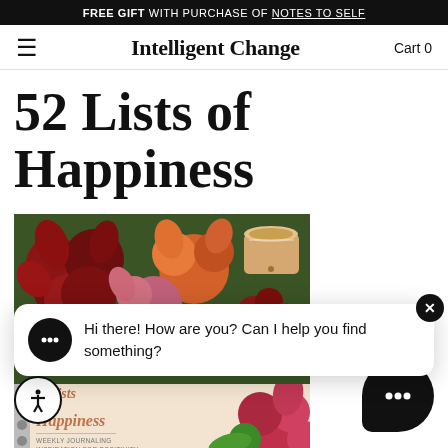FREE GIFT WITH PURCHASE OF NOTES TO SELF
Intelligent Change  Cart 0
52 Lists of Happiness
[Figure (photo): Product photo showing a book titled '52 Lists for Happiness' surrounded by red, orange and pink flowers with a coffee cup, and a chat widget overlay saying 'Hi there! How are you? Can I help you find something?']